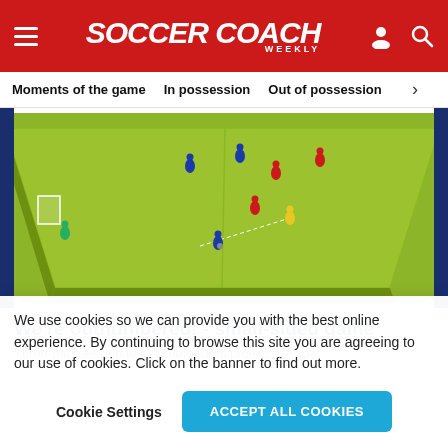SOCCER COACH WEEKLY
Moments of the game   In possession   Out of possession
[Figure (illustration): 3D illustration of a soccer/football pitch with players in red, blue, and yellow, with a small goal on the left side. Viewed from an elevated angle showing a small-sided game in progress.]
We're outnumbered! - small-sided game
Three-part session to help defenders protect the goal
We use cookies so we can provide you with the best online experience. By continuing to browse this site you are agreeing to our use of cookies. Click on the banner to find out more.
Cookie Settings   ACCEPT ALL COOKIES